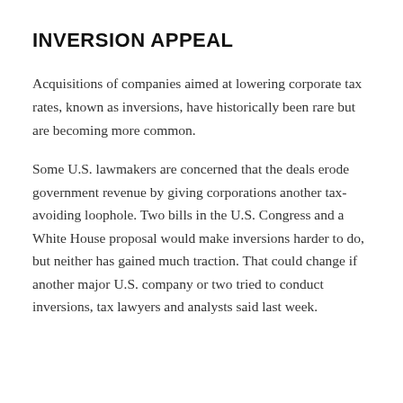INVERSION APPEAL
Acquisitions of companies aimed at lowering corporate tax rates, known as inversions, have historically been rare but are becoming more common.
Some U.S. lawmakers are concerned that the deals erode government revenue by giving corporations another tax-avoiding loophole. Two bills in the U.S. Congress and a White House proposal would make inversions harder to do, but neither has gained much traction. That could change if another major U.S. company or two tried to conduct inversions, tax lawyers and analysts said last week.